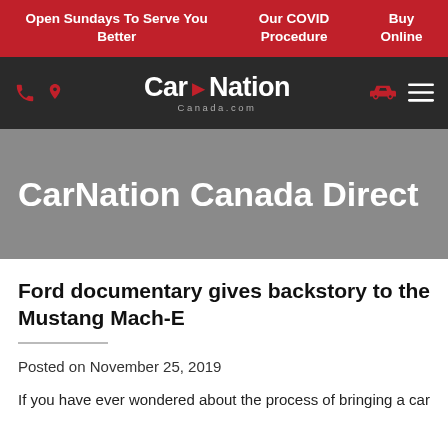Open Sundays To Serve You Better | Our COVID Procedure | Buy Online
[Figure (logo): CarNation Canada.com logo with phone and location icons on the left, car and hamburger menu icons on the right, on a dark background]
CarNation Canada Direct
Ford documentary gives backstory to the Mustang Mach-E
Posted on November 25, 2019
If you have ever wondered about the process of bringing a car